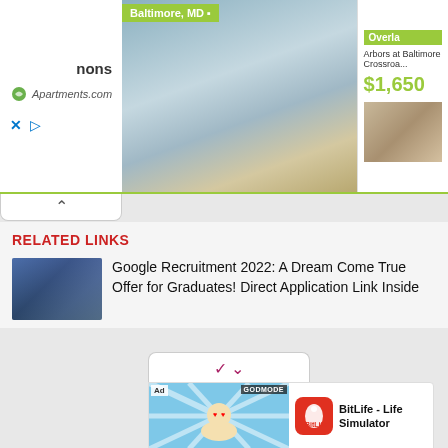[Figure (screenshot): Apartments.com advertisement banner showing 'Baltimore, MD' label, room interior photo, and apartment listing 'Arbors at Baltimore Crossroa...' priced at $1,650]
RELATED LINKS
[Figure (photo): Thumbnail image of a building exterior for Google recruitment article]
Google Recruitment 2022: A Dream Come True Offer for Graduates! Direct Application Link Inside
[Figure (screenshot): Mobile ad for BitLife - Life Simulator app showing animated character with 'Ad' badge and 'GOD MODE' badge, BitLife app icon in red]
BitLife - Life Simulator
Install!